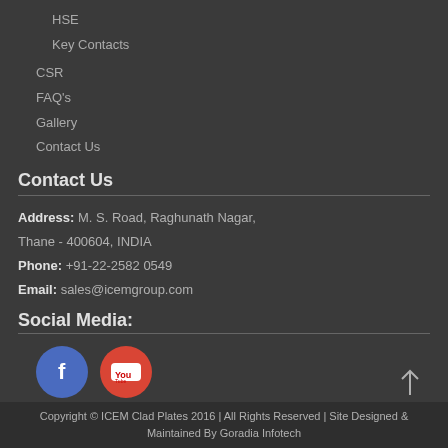HSE
Key Contacts
CSR
FAQ's
Gallery
Contact Us
Contact Us
Address: M. S. Road, Raghunath Nagar, Thane - 400604, INDIA
Phone: +91-22-2582 0549
Email: sales@icemgroup.com
Social Media:
[Figure (illustration): Facebook and YouTube social media icon circles]
Copyright © ICEM Clad Plates 2016 | All Rights Reserved | Site Designed & Maintained By Goradia Infotech